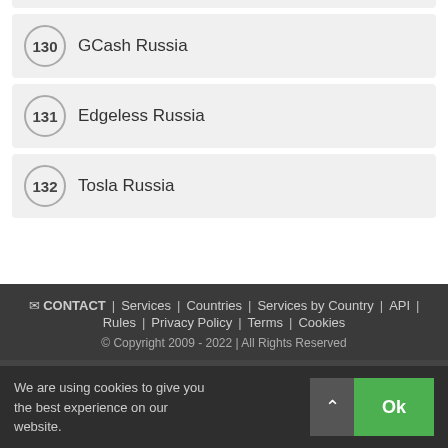130 GCash Russia
131 Edgeless Russia
132 Tosla Russia
CONTACT | Services | Countries | Services by Country | API | Rules | Privacy Policy | Terms | Cookies
© Copyright 2009 - 2022 | All Rights Reserved
We are using cookies to give you the best experience on our website.